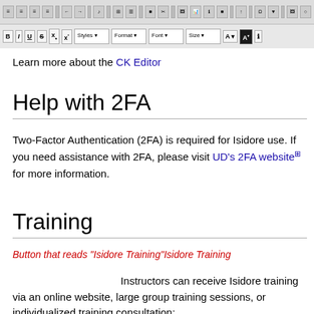[Figure (screenshot): CK Editor toolbar screenshot showing two rows of formatting buttons including bold, italic, underline, strikethrough, subscript, superscript, styles, format, font, size, and color controls]
Learn more about the CK Editor
Help with 2FA
Two-Factor Authentication (2FA) is required for Isidore use. If you need assistance with 2FA, please visit UD's 2FA website for more information.
Training
Button that reads "Isidore Training"Isidore Training
Instructors can receive Isidore training via an online website, large group training sessions, or individualized training consultation: